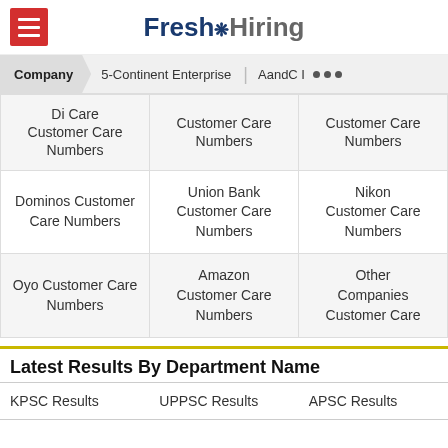Fresh Hiring
Company | 5-Continent Enterprise | AandC I ...
| Di Care Customer Care Numbers | Customer Care Numbers | Customer Care Numbers |
| Dominos Customer Care Numbers | Union Bank Customer Care Numbers | Nikon Customer Care Numbers |
| Oyo Customer Care Numbers | Amazon Customer Care Numbers | Other Companies Customer Care |
Latest Results By Department Name
| KPSC Results | UPPSC Results | APSC Results |